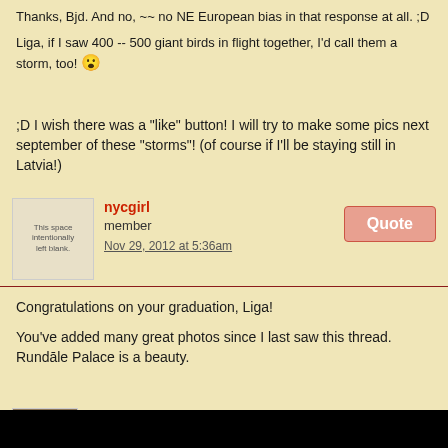Thanks, Bjd. And no, ~~ no NE European bias in that response at all. ;D
Liga, if I saw 400 -- 500 giant birds in flight together, I'd call them a storm, too! 😮
;D I wish there was a "like" button! I will try to make some pics next september of these "storms"! (of course if I'll be staying still in Latvia!)
nycgirl
member
Nov 29, 2012 at 5:36am
Congratulations on your graduation, Liga!
You've added many great photos since I last saw this thread. Rundāle Palace is a beauty.
questa
member
Sep 11, 2013 at 11:29pm